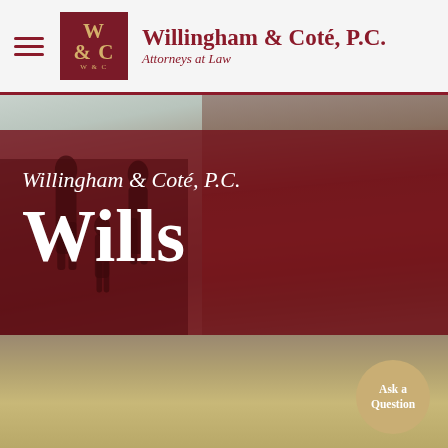Willingham & Coté, P.C. — Attorneys at Law
[Figure (photo): Law firm website screenshot showing header with logo and navigation hamburger menu, over a background photo of an elderly man seen from behind with a family silhouette, overlaid with a dark red panel containing italic firm name and large 'Wills' title, and a gold circular 'Ask a Question' button in bottom right]
Willingham & Coté, P.C.
Wills
Ask a Question